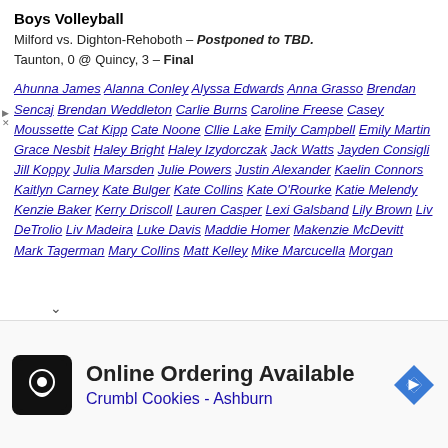Boys Volleyball
Milford vs. Dighton-Rehoboth – Postponed to TBD.
Taunton, 0 @ Quincy, 3 – Final
Ahunna James Alanna Conley Alyssa Edwards Anna Grasso Brendan Sencaj Brendan Weddleton Carlie Burns Caroline Freese Casey Moussette Cat Kipp Cate Noone Cllie Lake Emily Campbell Emily Martin Grace Nesbit Haley Bright Haley Izydorczak Jack Watts Jayden Consigli Jill Koppy Julia Marsden Julie Powers Justin Alexander Kaelin Connors Kaitlyn Carney Kate Bulger Kate Collins Kate O'Rourke Katie Melendy Kenzie Baker Kerry Driscoll Lauren Casper Lexi Galsband Lily Brown Liv DeTrolio Liv Madeira Luke Davis Maddie Homer Makenzie McDevitt Mark Tagerman Mary Collins Matt Kelley Mike Marcucella Morgan ...ham Mya Waryas Nina Della Valle Nolan Gordon Paige
[Figure (other): Advertisement for Crumbl Cookies - Ashburn: Online Ordering Available]